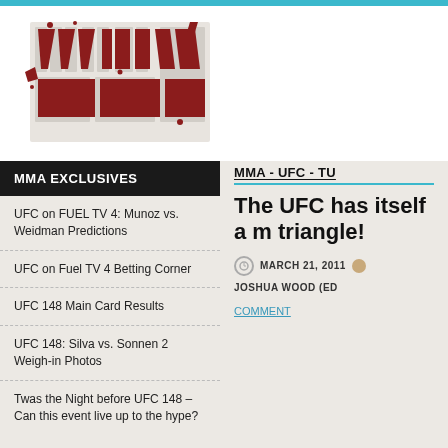[Figure (logo): MMA Razor website logo with grunge/splatter style text]
MMA EXCLUSIVES
UFC on FUEL TV 4: Munoz vs. Weidman Predictions
UFC on Fuel TV 4 Betting Corner
UFC 148 Main Card Results
UFC 148: Silva vs. Sonnen 2 Weigh-in Photos
Twas the Night before UFC 148 – Can this event live up to the hype?
MMA - UFC - TU
The UFC has itself a m triangle!
MARCH 21, 2011   JOSHUA WOOD (ED   COMMENT